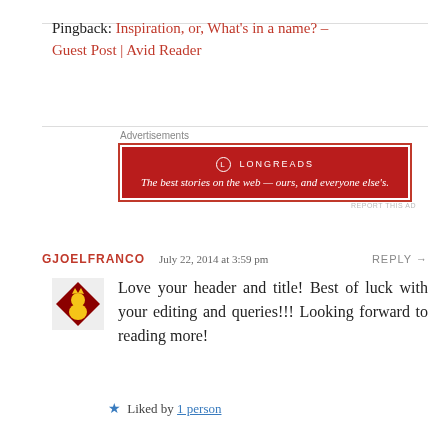Pingback: Inspiration, or, What's in a name? – Guest Post | Avid Reader
[Figure (other): Longreads advertisement banner: red background with white border, logo and tagline 'The best stories on the web — ours, and everyone else's.']
GJOELFRANCO   July 22, 2014 at 3:59 pm   REPLY →
Love your header and title! Best of luck with your editing and queries!!! Looking forward to reading more!
★ Liked by 1 person